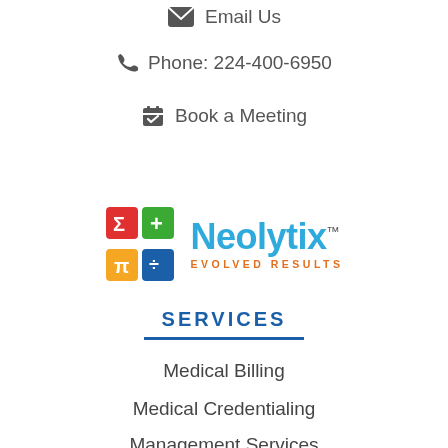Email Us
Phone: 224-400-6950
Book a Meeting
[Figure (logo): Neolytix logo with colorful cube and text 'Neolytix EVOLVED RESULTS']
SERVICES
Medical Billing
Medical Credentialing
Management Services